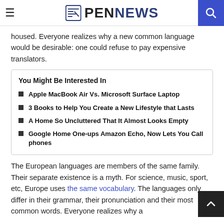PENNEWS
housed. Everyone realizes why a new common language would be desirable: one could refuse to pay expensive translators.
You Might Be Interested In
Apple MacBook Air Vs. Microsoft Surface Laptop
3 Books to Help You Create a New Lifestyle that Lasts
A Home So Uncluttered That It Almost Looks Empty
Google Home One-ups Amazon Echo, Now Lets You Call phones
The European languages are members of the same family. Their separate existence is a myth. For science, music, sport, etc, Europe uses the same vocabulary. The languages only differ in their grammar, their pronunciation and their most common words. Everyone realizes why a